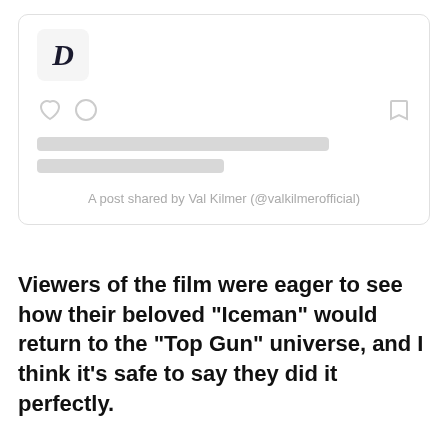[Figure (screenshot): Instagram embed card showing a 'D' logo in a rounded box, heart and comment icons, a bookmark icon, two placeholder loading bars, and the caption 'A post shared by Val Kilmer (@valkilmerofficial)']
Viewers of the film were eager to see how their beloved "Iceman" would return to the "Top Gun" universe, and I think it's safe to say they did it perfectly.